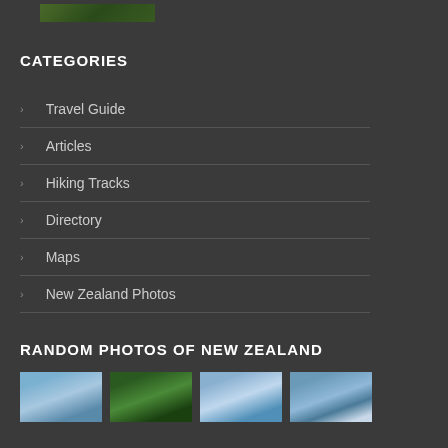[Figure (photo): Small thumbnail image strip at top, appearing to show a nature/landscape scene in green tones]
CATEGORIES
Travel Guide
Articles
Hiking Tracks
Directory
Maps
New Zealand Photos
RANDOM PHOTOS OF NEW ZEALAND
[Figure (photo): Four thumbnail photos of New Zealand landscapes showing mountains, waterfalls, and scenic views]